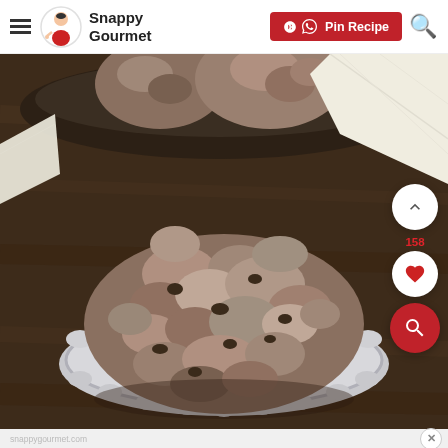Snappy Gourmet — Pin Recipe
[Figure (photo): Large rustic chocolate oatmeal cookie on a decorative silver plate, with more cookies in a dark bowl in the background on a wooden table, with a cream linen napkin. Photo from Snappy Gourmet recipe site.]